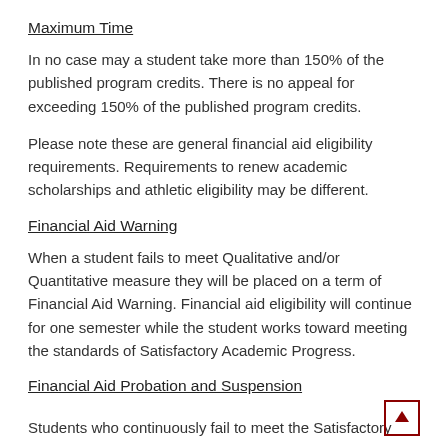Maximum Time
In no case may a student take more than 150% of the published program credits.  There is no appeal for exceeding 150% of the published program credits.
Please note these are general financial aid eligibility requirements.  Requirements to renew academic scholarships and athletic eligibility may be different.
Financial Aid Warning
When a student fails to meet Qualitative and/or Quantitative measure they will be placed on a term of Financial Aid Warning.  Financial aid eligibility will continue for one semester while the student works toward meeting the standards of Satisfactory Academic Progress.
Financial Aid Probation and Suspension
Students who continuously fail to meet the Satisfactory